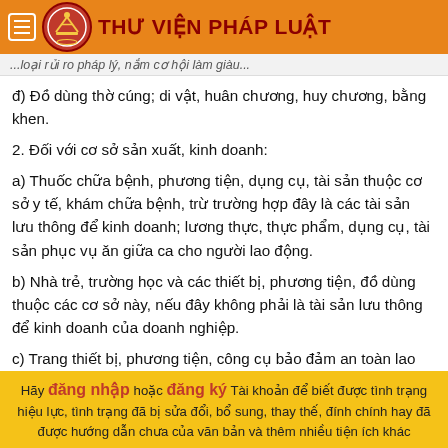THƯ VIỆN PHÁP LUẬT
...loại rủi ro pháp lý, nắm cơ hội làm giàu...
đ) Đồ dùng thờ cúng; di vật, huân chương, huy chương, bằng khen.
2. Đối với cơ sở sản xuất, kinh doanh:
a) Thuốc chữa bệnh, phương tiện, dụng cụ, tài sản thuộc cơ sở y tế, khám chữa bệnh, trừ trường hợp đây là các tài sản lưu thông để kinh doanh; lương thực, thực phẩm, dụng cụ, tài sản phục vụ ăn giữa ca cho người lao động.
b) Nhà trẻ, trường học và các thiết bị, phương tiện, đồ dùng thuộc các cơ sở này, nếu đây không phải là tài sản lưu thông để kinh doanh của doanh nghiệp.
c) Trang thiết bị, phương tiện, công cụ bảo đảm an toàn lao động, phòng chống cháy nổ, phòng chống ô nhiễm môi trường
Hãy đăng nhập hoặc đăng ký Tài khoản để biết được tình trạng hiệu lực, tình trạng đã bị sửa đổi, bổ sung, thay thế, đính chính hay đã được hướng dẫn chưa của văn bản và thêm nhiều tiện ích khác